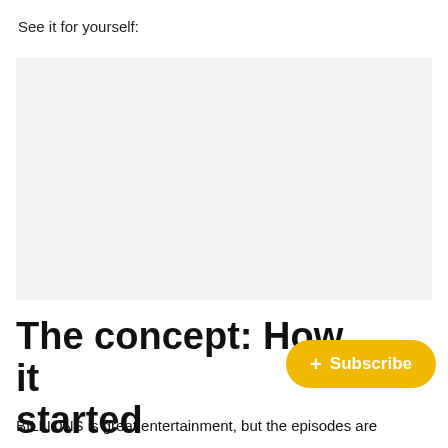See it for yourself:
[Figure (other): Large light gray rectangular placeholder image area]
The concept: How it started
+ Subscribe
BILLIONS is great entertainment, but the episodes are